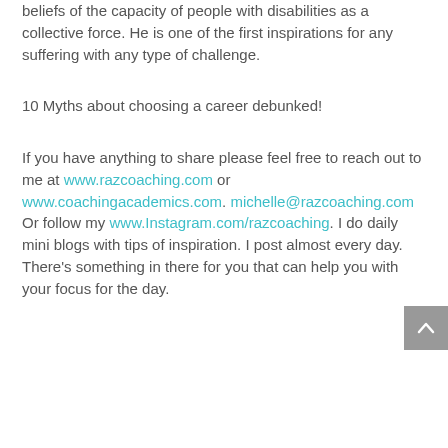beliefs of the capacity of people with disabilities as a collective force.  He is one of the first inspirations for any suffering with any type of challenge.
10 Myths about choosing a career debunked!
If you have anything to share please feel free to reach out to me at www.razcoaching.com  or www.coachingacademics.com. michelle@razcoaching.com Or follow my www.Instagram.com/razcoaching. I do daily mini blogs with tips of inspiration. I post almost every day.  There's something in there for you that can help you with your focus for the day.